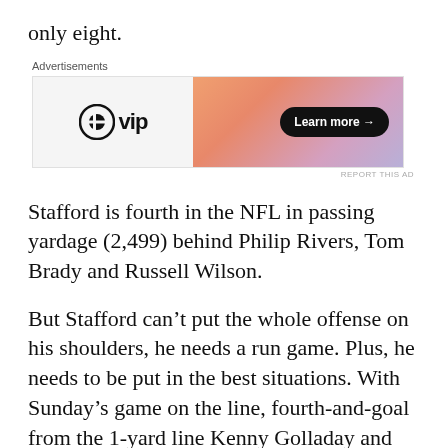only eight.
[Figure (other): Advertisement banner for WordPress VIP with 'Learn more' button on a gradient orange-pink-purple background]
Stafford is fourth in the NFL in passing yardage (2,499) behind Philip Rivers, Tom Brady and Russell Wilson.
But Stafford can't put the whole offense on his shoulders, he needs a run game. Plus, he needs to be put in the best situations. With Sunday's game on the line, fourth-and-goal from the 1-yard line Kenny Golladay and Marvin Jones Jr., who can both catch in traffic, were on the sideline. Stafford didn't get the chance to end it.